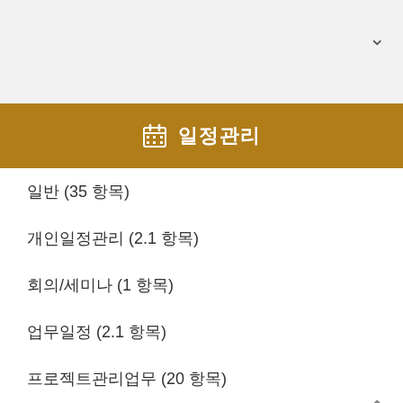📅 일정관리
일반 (35 항목)
개인일정관리 (2.1 항목)
회의/세미나 (1 항목)
업무일정 (2.1 항목)
프로젝트관리업무 (20 항목)
소속팀일정 (2.1 항목)
교육 (2 항목)
출장 (0.2 항목)
휴가 (0.2 항목)